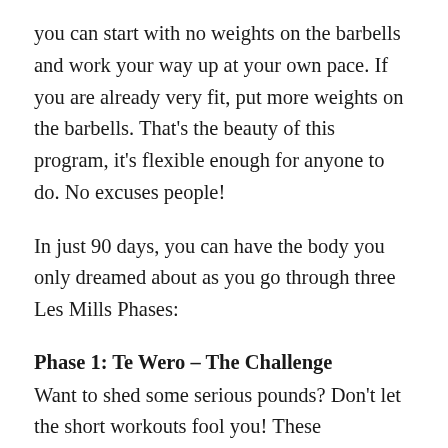you can start with no weights on the barbells and work your way up at your own pace. If you are already very fit, put more weights on the barbells. That's the beauty of this program, it's flexible enough for anyone to do. No excuses people!
In just 90 days, you can have the body you only dreamed about as you go through three Les Mills Phases:
Phase 1: Te Wero – The Challenge
Want to shed some serious pounds? Don't let the short workouts fool you! These challenging workouts are designed to boost your metabolism